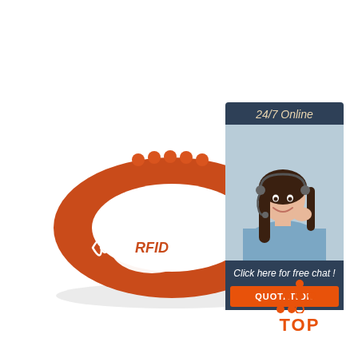[Figure (photo): Orange/red RFID silicone wristband with white oval chip area labeled with RFID signal icon and text, photographed on white background]
[Figure (infographic): Customer service chat widget: dark blue panel with '24/7 Online' header in italic gold text, photo of smiling female customer service agent with headset, 'Click here for free chat!' text, and orange QUOTATION button]
[Figure (logo): TOP logo: orange dots arranged in triangle/arrow shape above orange bold text 'TOP']